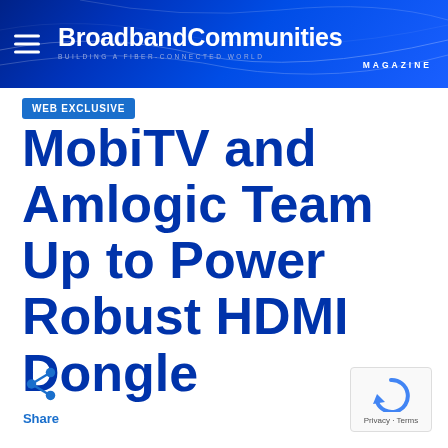BroadbandCommunities MAGAZINE — BUILDING A FIBER-CONNECTED WORLD
WEB EXCLUSIVE
MobiTV and Amlogic Team Up to Power Robust HDMI Dongle
Share
[Figure (logo): reCAPTCHA logo with Privacy and Terms text]